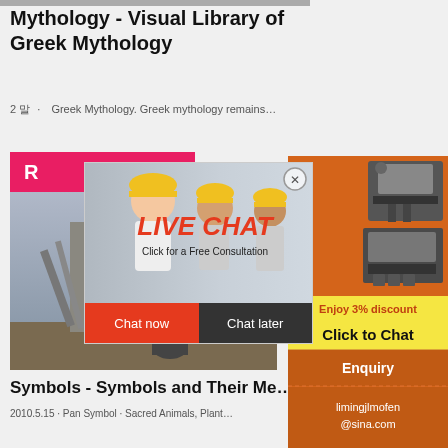Mythology - Visual Library of Greek Mythology
2 말 · Greek Mythology. Greek mythology remains…
[Figure (photo): Live chat popup overlay with workers in hard hats and red/black chat buttons]
[Figure (photo): Industrial/construction site machinery photo]
[Figure (infographic): Right sidebar advertisement with orange background showing mining machinery, '3% discount', 'Click to Chat', 'Enquiry', and 'limingjlmofen@sina.com']
Symbols - Symbols and Their Me…
2010.5.15 · Pan Symbol · Sacred Animals, Plant…